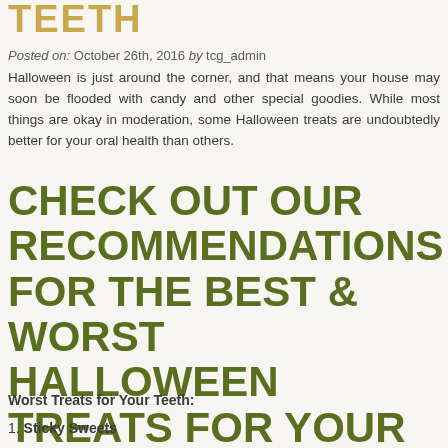TEETH
Posted on: October 26th, 2016 by tcg_admin
Halloween is just around the corner, and that means your house may soon be flooded with candy and other special goodies. While most things are okay in moderation, some Halloween treats are undoubtedly better for your oral health than others.
CHECK OUT OUR RECOMMENDATIONS FOR THE BEST & WORST HALLOWEEN TREATS FOR YOUR TEETH!
Worst Treats for Your Teeth:
1. Sticky Sweets